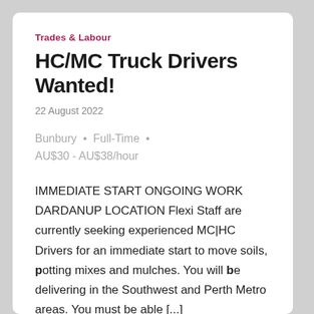Trades & Labour
HC/MC Truck Drivers Wanted!
22 August 2022
Bunbury  •  Full-Time  •  AU$30 - AU$38/hour
IMMEDIATE START ONGOING WORK DARDANUP LOCATION Flexi Staff are currently seeking experienced MC|HC Drivers for an immediate start to move soils, potting mixes and mulches. You will be delivering in the Southwest and Perth Metro areas. You must be able [...]